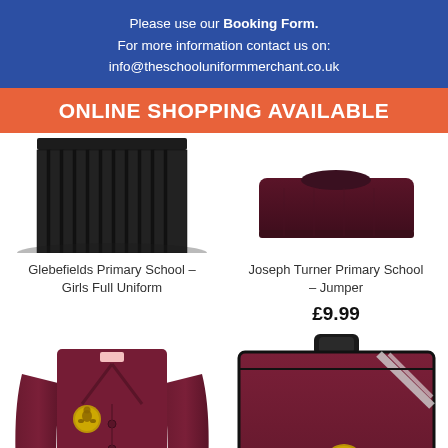Please use our Booking Form.
For more information contact us on:
info@theschooluniformmerchant.co.uk
ONLINE SHOPPING AVAILABLE
[Figure (photo): Glebefields Primary School girls pleated school skirt, dark grey/black, shown from waist down]
[Figure (photo): Joseph Turner Primary School maroon/burgundy jumper, folded, shown from above]
Glebefields Primary School – Girls Full Uniform
Joseph Turner Primary School – Jumper
£9.99
[Figure (photo): Joseph Turner Primary School maroon/burgundy cardigan with school emblem embroidered on chest]
[Figure (photo): Joseph Turner Primary School maroon/burgundy book bag with school emblem embroidered on front]